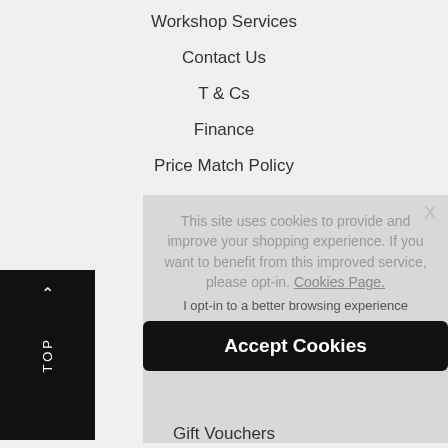Workshop Services
Contact Us
T & Cs
Finance
Price Match Policy
Watch Guide
INFORMATION
This site uses cookies to provide and improve your shopping experience. If you want to benefit from this improved service, please opt-in. Cookies Page.
I opt-in to a better browsing experience
Accept Cookies
Gift Vouchers